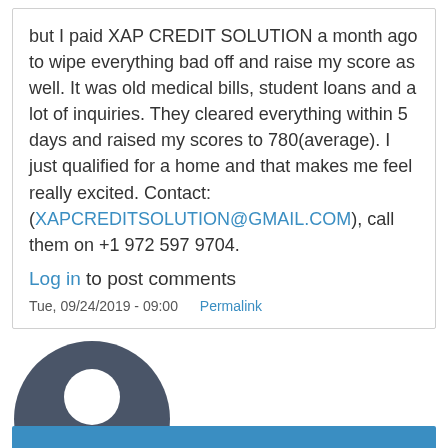but I paid XAP CREDIT SOLUTION a month ago to wipe everything bad off and raise my score as well. It was old medical bills, student loans and a lot of inquiries. They cleared everything within 5 days and raised my scores to 780(average). I just qualified for a home and that makes me feel really excited. Contact: (XAPCREDITSOLUTION@GMAIL.COM), call them on +1 972 597 9704.
Log in to post comments
Tue, 09/24/2019 - 09:00   Permalink
[Figure (illustration): Generic user avatar: dark gray circle with white silhouette of a person (head and shoulders)]